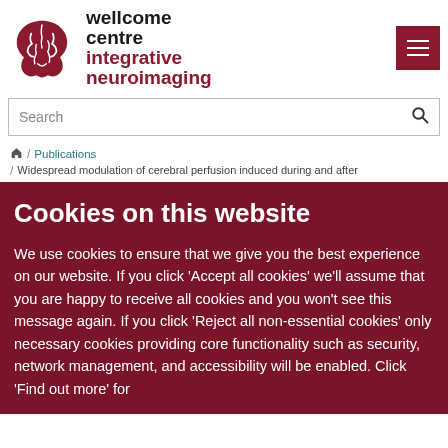[Figure (logo): Wellcome Centre for Integrative Neuroimaging logo with brain icon and text]
Search
/ Publications / Widespread modulation of cerebral perfusion induced during and after
Cookies on this website
We use cookies to ensure that we give you the best experience on our website. If you click 'Accept all cookies' we'll assume that you are happy to receive all cookies and you won't see this message again. If you click 'Reject all non-essential cookies' only necessary cookies providing core functionality such as security, network management, and accessibility will be enabled. Click 'Find out more' for